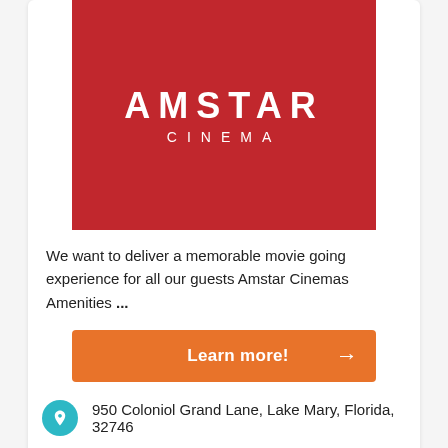[Figure (logo): Amstar Cinema logo — red square background with white text AMSTAR in large letters and CINEMA below in spaced smaller letters]
We want to deliver a memorable movie going experience for all our guests Amstar Cinemas Amenities ...
Learn more! →
950 Coloniol Grand Lane, Lake Mary, Florida, 32746
321-832-0207
Cranes Roost Sunset Cinema